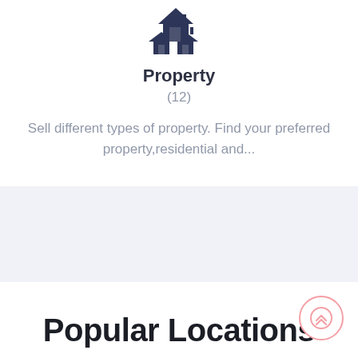[Figure (illustration): Houses/property icon with dark navy rooftops, three overlapping house silhouettes]
Property
(12)
Sell different types of property. Find your preferred property,residential and...
Popular Locations
[Figure (other): Scroll-to-top button: pink circle with double upward chevron arrows]